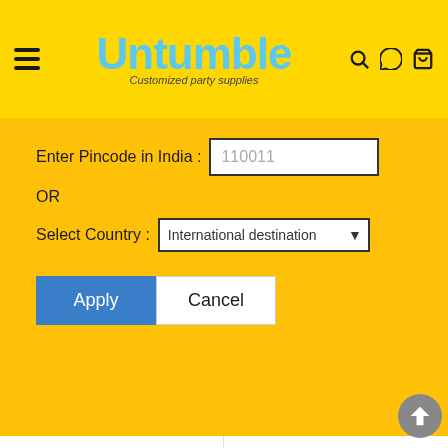[Figure (screenshot): Untumble website header with yellow background, hamburger menu icon, Untumble logo in blue cursive font with tagline 'Customized party supplies', and icons for search, WhatsApp, and cart]
[Figure (screenshot): Pincode/country selector overlay on yellow background with input field showing '110011', OR text, country dropdown showing 'International destination', and Apply/Cancel buttons]
[Figure (photo): Letter M shaped photo collage product image showing multiple family photos arranged in the shape of the letter M]
Letter Shaped photo collage
Shaped Photo Collage